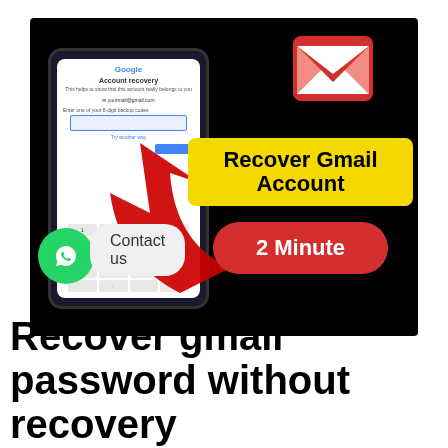[Figure (screenshot): YouTube thumbnail showing Gmail account recovery tutorial. Features a phone mockup with Google Account Recovery screen, large red arrow pointing up at phone, Gmail logo (red square with M envelope), yellow banner reading 'Recover Gmail Account', and red pill button reading '2 Minute'. Black background.]
[Figure (logo): WhatsApp green circle button with phone icon, overlaid with 'Contact us' rounded rectangle bubble]
Recover gmail password without recovery